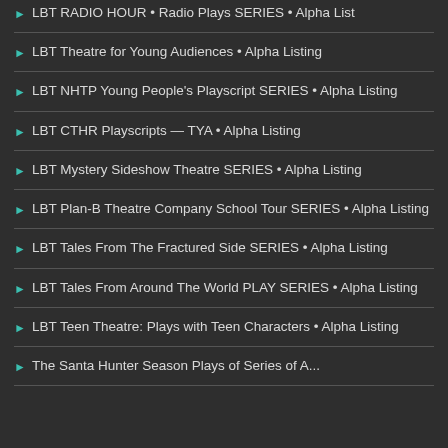LBT RADIO HOUR • Radio Plays SERIES • Alpha List
LBT Theatre for Young Audiences • Alpha Listing
LBT NHTP Young People's Playscript SERIES • Alpha Listing
LBT CTHR Playscripts — TYA • Alpha Listing
LBT Mystery Sideshow Theatre SERIES • Alpha Listing
LBT Plan-B Theatre Company School Tour SERIES • Alpha Listing
LBT Tales From The Fractured Side SERIES • Alpha Listing
LBT Tales From Around The World PLAY SERIES • Alpha Listing
LBT Teen Theatre: Plays with Teen Characters • Alpha Listing
The Santa Hunter Season Plays of Series of A...